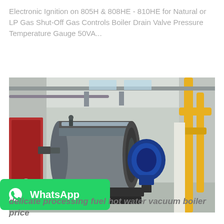Electronic Ignition on 805H & 808HE - 810HE for Natural or LP Gas Shut-Off Gas Controls Boiler Drain Valve Pressure Temperature Gauge 50VA...
Get Price
[Figure (photo): Industrial boiler in a factory/plant setting. A large horizontal cylindrical stainless steel boiler with a blue motor/burner attached on the right end. Yellow gas pipes visible on the right side, red equipment cabinet on the left, ceiling structural elements visible above.]
WhatsApp
delicate processing fuel hot water vacuum boiler price